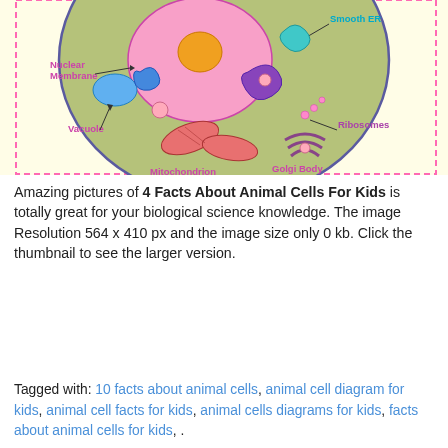[Figure (illustration): Partial view of an animal cell diagram showing labeled organelles including Nuclear Membrane, Smooth ER, Ribosomes, Golgi Body, Vacuole, and Mitochondrion. The diagram has a yellow background with a dashed pink border and colored organelles.]
Amazing pictures of 4 Facts About Animal Cells For Kids is totally great for your biological science knowledge. The image Resolution 564 x 410 px and the image size only 0 kb. Click the thumbnail to see the larger version.
Tagged with: 10 facts about animal cells, animal cell diagram for kids, animal cell facts for kids, animal cells diagrams for kids, facts about animal cells for kids, .
SHARE THIS PICTURE
FAVOURITE PHOTOS